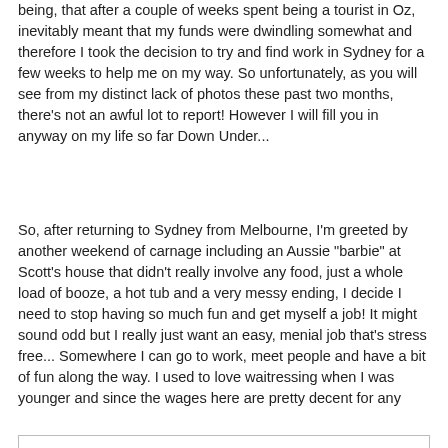being, that after a couple of weeks spent being a tourist in Oz, inevitably meant that my funds were dwindling somewhat and therefore I took the decision to try and find work in Sydney for a few weeks to help me on my way. So unfortunately, as you will see from my distinct lack of photos these past two months, there's not an awful lot to report! However I will fill you in anyway on my life so far Down Under...
So, after returning to Sydney from Melbourne, I'm greeted by another weekend of carnage including an Aussie "barbie" at Scott's house that didn't really involve any food, just a whole load of booze, a hot tub and a very messy ending, I decide I need to stop having so much fun and get myself a job! It might sound odd but I really just want an easy, menial job that's stress free... Somewhere I can go to work, meet people and have a bit of fun along the way. I used to love waitressing when I was younger and since the wages here are pretty decent for any